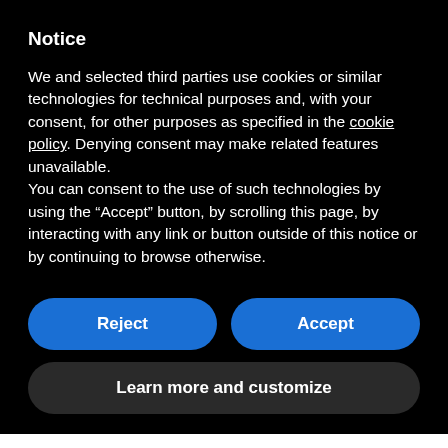Notice
We and selected third parties use cookies or similar technologies for technical purposes and, with your consent, for other purposes as specified in the cookie policy. Denying consent may make related features unavailable.
You can consent to the use of such technologies by using the “Accept” button, by scrolling this page, by interacting with any link or button outside of this notice or by continuing to browse otherwise.
Reject
Accept
Learn more and customize
prepare the copper surface for the subsequent adhesion of […]
Read more →